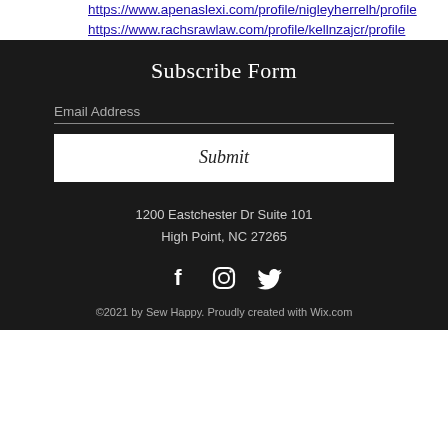https://www.apenaslexi.com/profile/nigleyherrelh/profile https://www.rachsrawlaw.com/profile/kellnzajcr/profile
Subscribe Form
Email Address
Submit
1200 Eastchester Dr Suite 101
High Point, NC 27265
[Figure (illustration): Social media icons: Facebook, Instagram, Twitter in white on dark background]
©2021 by Sew Happy. Proudly created with Wix.com